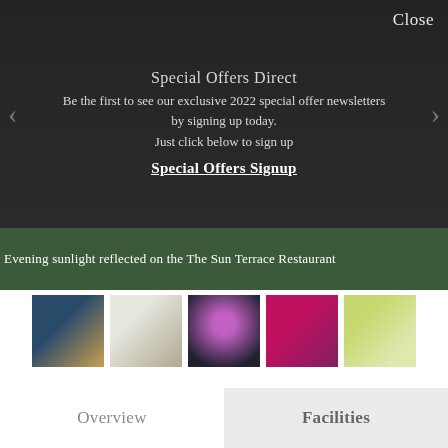Close
Special Offers Direct
Be the first to see our exclusive 2022 special offer newsletters by signing up today.
Just click below to sign up
Special Offers Signup
Evening sunlight reflected on the The Sun Terrace Restaurant
[Figure (photo): Five thumbnail photos of hotel interior and exterior views]
Overview
Facilities